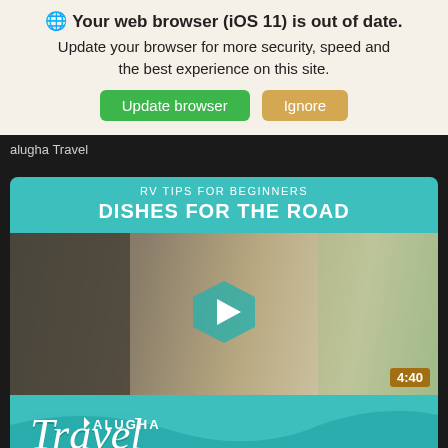🌐 Your web browser (iOS 11) is out of date. Update your browser for more security, speed and the best experience on this site.
Update browser | Ignore
alugha Travel
[Figure (screenshot): Video thumbnail for 'Dishes for the Road' by Alugha Travel — RV Tips for Beginners series. Shows a man eating in an RV with a play button overlay and 4:40 duration badge. Teal header with title and teal footer with Alugha Travel logo.]
Dishes for the road
alugha Travel